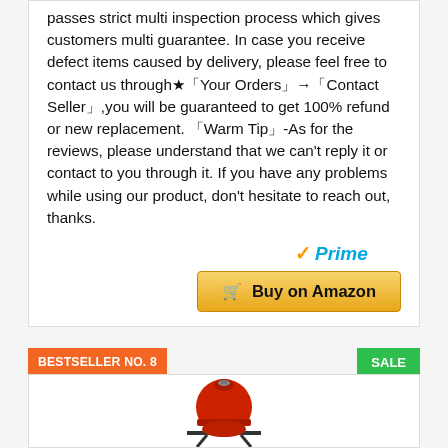passes strict multi inspection process which gives customers multi guarantee. In case you receive defect items caused by delivery, please feel free to contact us through★「Your Orders」→「Contact Seller」,you will be guaranteed to get 100% refund or new replacement. 「Warm Tip」-As for the reviews, please understand that we can't reply it or contact to you through it. If you have any problems while using our product, don't hesitate to reach out, thanks.
[Figure (logo): Amazon Prime badge with checkmark and 'Prime' text in blue italic]
Buy on Amazon
BESTSELLER NO. 8
SALE
[Figure (photo): Red kamado-style ceramic grill on a black stand, partial view]